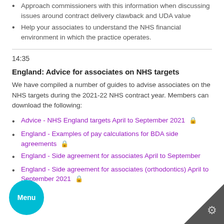Approach commissioners with this information when discussing issues around contract delivery clawback and UDA value
Help your associates to understand the NHS financial environment in which the practice operates.
14:35
England: Advice for associates on NHS targets
We have compiled a number of guides to advise associates on the NHS targets during the 2021-22 NHS contract year. Members can download the following:
Advice - NHS England targets April to September 2021 🔒
England - Examples of pay calculations for BDA side agreements 🔒
England - Side agreement for associates April to September
England - Side agreement for associates (orthodontics) April to September 2021 🔒